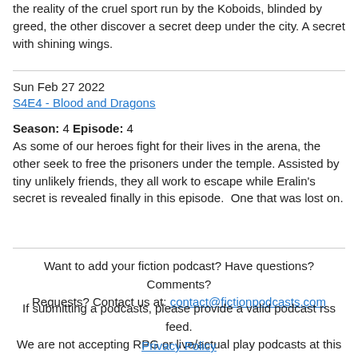the reality of the cruel sport run by the Kobolds, blinded by greed, the other discover a secret deep under the city. A secret with shining wings.
Sun Feb 27 2022
S4E4 - Blood and Dragons
Season: 4 Episode: 4
As some of our heroes fight for their lives in the arena, the other seek to free the prisoners under the temple. Assisted by tiny unlikely friends, they all work to escape while Eralin's secret is revealed finally in this episode.  One that was lost on.
Want to add your fiction podcast? Have questions? Comments? Requests? Contact us at: contact@fictionpodcasts.com
If submitting a podcasts, please provide a valid podcast rss feed. We are not accepting RPG or live/actual play podcasts at this time.
Privacy Policy